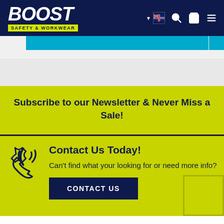[Figure (logo): Boost Safety & Workwear logo with white bold italic BOOST text and yellow subtitle bar on dark navy background, with navigation icons including Australian flag, search, cart, and menu]
[Figure (screenshot): Cyan/light blue horizontal banner strip partially visible]
Subscribe to our Newsletter & Never Miss a Sale!
Contact Us Today! Can't find what your looking for or need more info?
CONTACT US